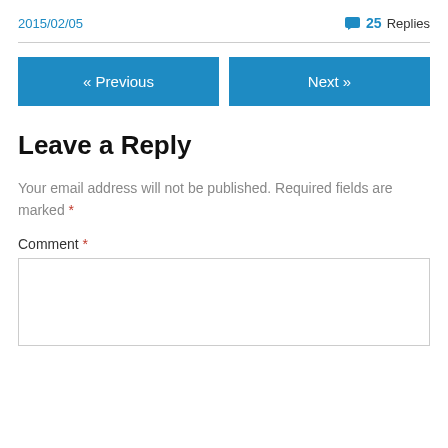2015/02/05
💬 25 Replies
« Previous
Next »
Leave a Reply
Your email address will not be published. Required fields are marked *
Comment *